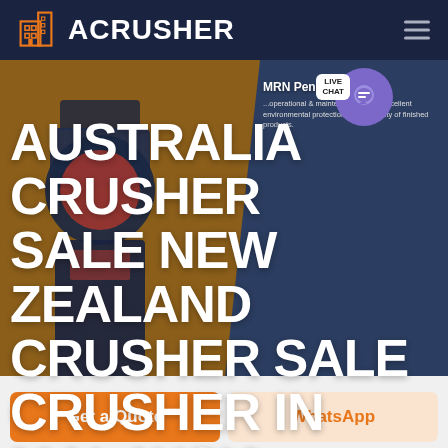ACRUSHER
[Figure (screenshot): Hero section of ACRUSHER website showing large white bold text: AUSTRALIA CRUSHER SALE NEW ZEALAND CRUSHER SALE CRUSHER IN MALAYSIA, with breadcrumb HOME / PRODUCTS, industrial crusher machine image on left, dark navy/brown background, live chat bubble top right, MRN Pendulum Roller product card visible on right side]
HOME / PRODUCTS
Get a Quote
WhatsApp